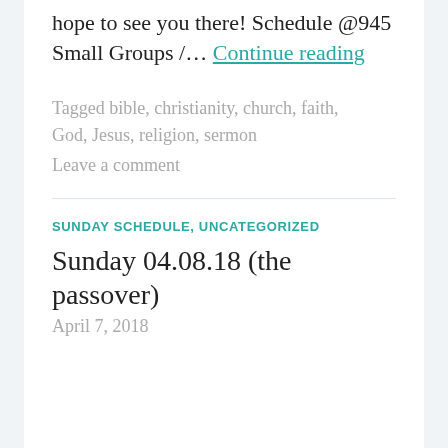hope to see you there! Schedule @945 Small Groups / … Continue reading
Tagged bible, christianity, church, faith, God, Jesus, religion, sermon
Leave a comment
SUNDAY SCHEDULE, UNCATEGORIZED
Sunday 04.08.18 (the passover)
April 7, 2018